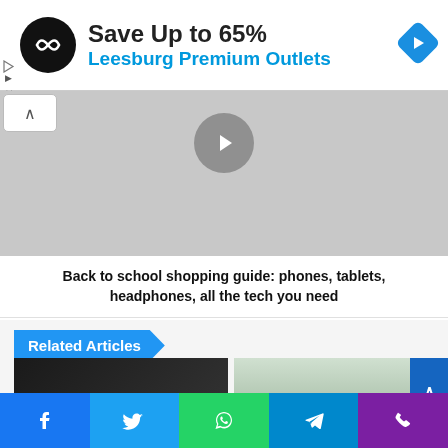[Figure (screenshot): Advertisement banner: black circular logo with double arrows, text 'Save Up to 65%' and 'Leesburg Premium Outlets' in blue, blue diamond navigation icon on right. Small play and X icons on far left.]
[Figure (screenshot): Carousel/slideshow area: gray background with an up-arrow button (white box, top-left), and a circular gray next/forward button with white chevron in center.]
Back to school shopping guide: phones, tablets, headphones, all the tech you need
Related Articles
[Figure (screenshot): Two article thumbnail images side by side: left shows a dark image (device/phone), right shows a snowy outdoor scene. A blue scroll-to-top button overlaps on the right side.]
[Figure (screenshot): Bottom social sharing bar with five icons: Facebook (blue), Twitter (light blue), WhatsApp (green), Telegram (blue), Phone/Viber (purple).]